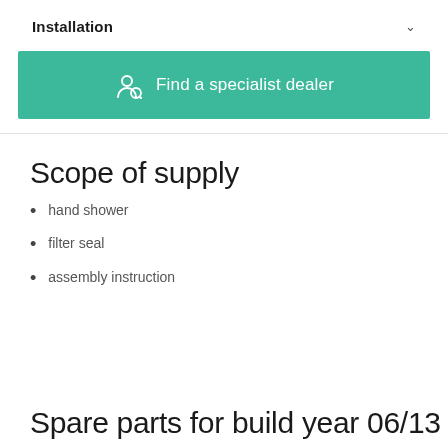Installation
[Figure (other): Teal button with person/dealer icon and text 'Find a specialist dealer']
Scope of supply
hand shower
filter seal
assembly instruction
Spare parts for build year 06/13